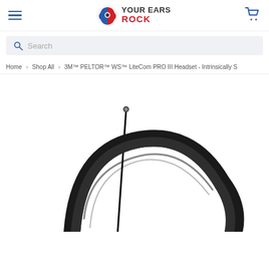Your Ears Rock - navigation header with hamburger menu and cart icon
Search
Home > Shop All > 3M™ PELTOR™ WS™ LiteCom PRO III Headset - Intrinsically S
[Figure (photo): Product photo of a 3M PELTOR WS LiteCom PRO III Headset showing the headband and antenna of a black professional earmuff headset with a thin antenna extending upward]